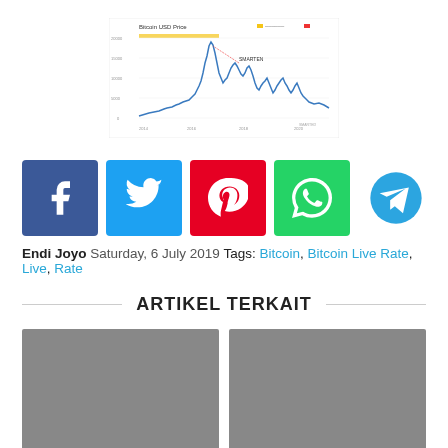[Figure (continuous-plot): Bitcoin USD Price line chart showing price trend over time with a peak around 2017-2018, x-axis shows dates, y-axis shows price values]
[Figure (infographic): Social sharing buttons: Facebook (blue), Twitter (light blue), Pinterest (red), WhatsApp (green), Telegram (cyan circle)]
Endi Joyo Saturday, 6 July 2019 Tags: Bitcoin, Bitcoin Live Rate, Live, Rate
ARTIKEL TERKAIT
[Figure (photo): Grey placeholder image for related article 1]
[Figure (photo): Grey placeholder image for related article 2]